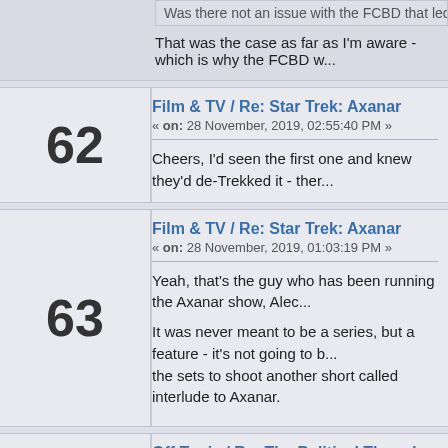Was there not an issue with the FCBD that led to Regened being slotted in as a o...
That was the case as far as I'm aware - which is why the FCBD w...
Film & TV / Re: Star Trek: Axanar
« on: 28 November, 2019, 02:55:40 PM »
Cheers, I'd seen the first one and knew they'd de-Trekked it - ther...
Film & TV / Re: Star Trek: Axanar
« on: 28 November, 2019, 01:03:19 PM »
Yeah, that's the guy who has been running the Axanar show, Alec...
It was never meant to be a series, but a feature - it's not going to b... the sets to shoot another short called interlude to Axanar.
Off Topic / Re: The Political Thread
« on: 28 November, 2019, 11:48:06 AM »